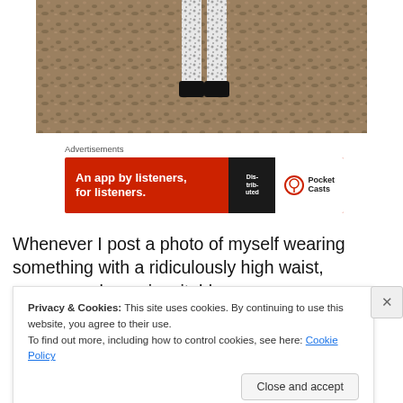[Figure (photo): Cropped photo showing lower legs of a person wearing patterned/printed leggings and black shoes, standing on gravel/mulch ground]
Advertisements
[Figure (other): Pocket Casts advertisement banner: red background with text 'An app by listeners, for listeners.' and Pocket Casts logo, with a book image 'Dis-trib-uted']
Whenever I post a photo of myself wearing something with a ridiculously high waist, someone always inevitably
Privacy & Cookies: This site uses cookies. By continuing to use this website, you agree to their use.
To find out more, including how to control cookies, see here: Cookie Policy
Close and accept